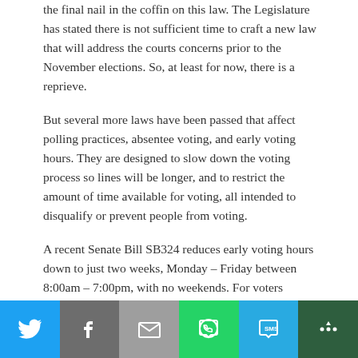the final nail in the coffin on this law. The Legislature has stated there is not sufficient time to craft a new law that will address the courts concerns prior to the November elections. So, at least for now, there is a reprieve.
But several more laws have been passed that affect polling practices, absentee voting, and early voting hours. They are designed to slow down the voting process so lines will be longer, and to restrict the amount of time available for voting, all intended to disqualify or prevent people from voting.
A recent Senate Bill SB324 reduces early voting hours down to just two weeks, Monday – Friday between 8:00am – 7:00pm, with no weekends. For voters across Wisconsin, but particularly in larger cities, this could mean the difference between being able to vote or not. It was passed and signed along...
[Figure (other): Social share bar with Twitter, Facebook, Email, WhatsApp, SMS, and More buttons]